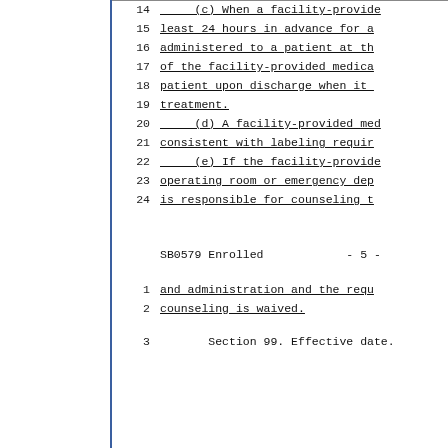(c) When a facility-provide...
least 24 hours in advance for a...
administered to a patient at th...
of the facility-provided medica...
patient upon discharge when it...
treatment.
(d) A facility-provided med...
consistent with labeling requir...
(e) If the facility-provide...
operating room or emergency dep...
is responsible for counseling t...
SB0579 Enrolled                - 5 -
and administration and the requ...
counseling is waived.
Section 99. Effective date.